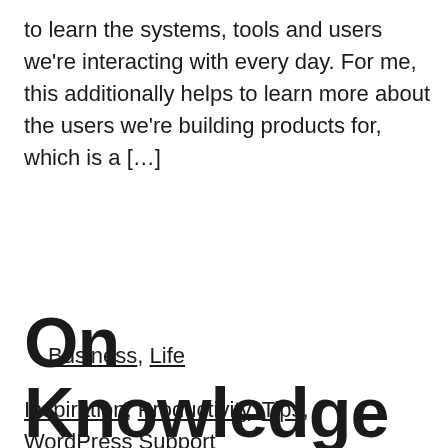to learn the systems, tools and users we're interacting with every day. For me, this additionally helps to learn more about the users we're building products for, which is a […]
Business, Life
Inspiration, Productivity, Tips, WordPress Support
On Knowledge